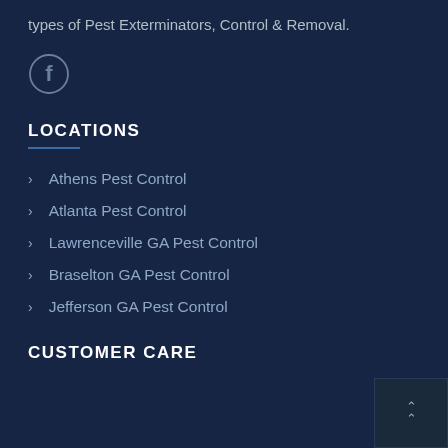types of Pest Exterminators, Control & Removal.
[Figure (illustration): Facebook social media icon — circle with letter f inside]
LOCATIONS
Athens Pest Control
Atlanta Pest Control
Lawrenceville GA Pest Control
Braselton GA Pest Control
Jefferson GA Pest Control
CUSTOMER CARE
[Figure (illustration): Scroll-to-top widget button with upward double chevron arrow]